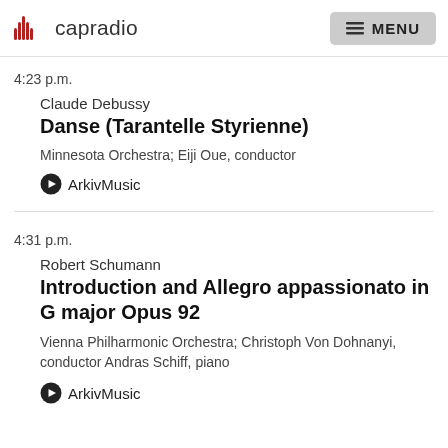capradio  MENU
4:23 p.m.
Claude Debussy
Danse (Tarantelle Styrienne)
Minnesota Orchestra; Eiji Oue, conductor
ArkivMusic
4:31 p.m.
Robert Schumann
Introduction and Allegro appassionato in G major Opus 92
Vienna Philharmonic Orchestra; Christoph Von Dohnanyi, conductor Andras Schiff, piano
ArkivMusic